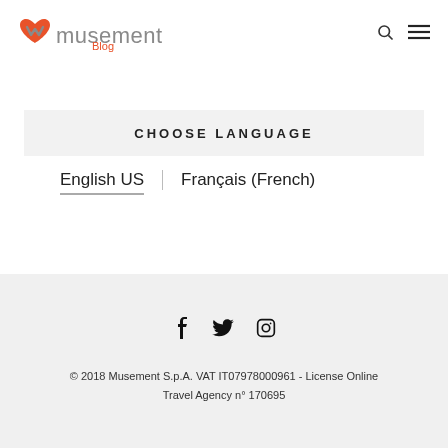[Figure (logo): Musement Blog logo with orange heart icon and grey text, orange 'Blog' subtitle]
CHOOSE LANGUAGE
English US
Français (French)
[Figure (other): Social media icons: Facebook, Twitter, Instagram]
© 2018 Musement S.p.A. VAT IT07978000961 - License Online Travel Agency n° 170695